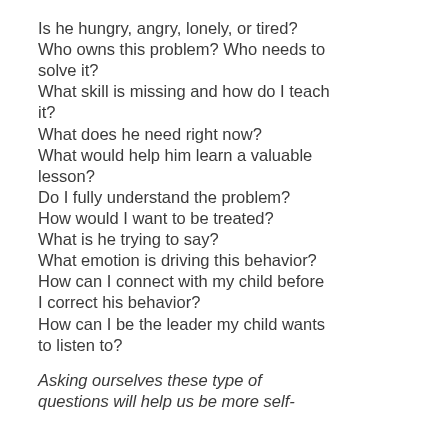Is he hungry, angry, lonely, or tired?
Who owns this problem? Who needs to solve it?
What skill is missing and how do I teach it?
What does he need right now?
What would help him learn a valuable lesson?
Do I fully understand the problem?
How would I want to be treated?
What is he trying to say?
What emotion is driving this behavior?
How can I connect with my child before I correct his behavior?
How can I be the leader my child wants to listen to?
Asking ourselves these type of questions will help us be more self-